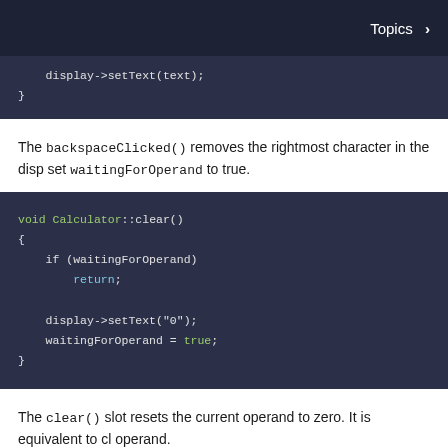Topics >
[Figure (screenshot): Code block showing display->setText(text); and closing brace]
The backspaceClicked() removes the rightmost character in the display. If the display shows a single character, or if the display shows "0", it clears the display and set waitingForOperand to true.
[Figure (screenshot): Code block showing void Calculator::clear() function with if (waitingForOperand) return; display->setText("0"); waitingForOperand = true;]
The clear() slot resets the current operand to zero. It is equivalent to clicking the CE (clear entry) button. If waitingForOperand is already true, the function does nothing (there's no current operand).
[Figure (screenshot): Beginning of another code block]